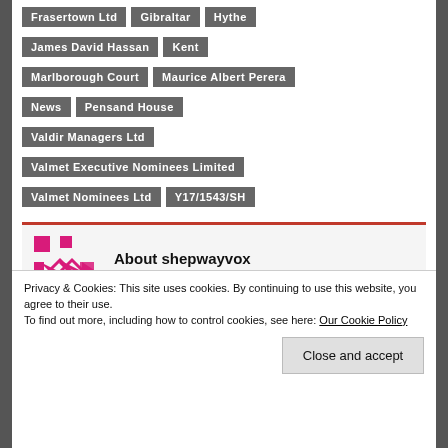Frasertown Ltd
Gibraltar
Hythe
James David Hassan
Kent
Marlborough Court
Maurice Albert Perera
News
Pensand House
Valdir Managers Ltd
Valmet Executive Nominees Limited
Valmet Nominees Ltd
Y17/1543/SH
[Figure (logo): Shepwayvox logo - stylized pink/magenta geometric design]
About shepwayvox (1558 Articles)
Privacy & Cookies: This site uses cookies. By continuing to use this website, you agree to their use. To find out more, including how to control cookies, see here: Our Cookie Policy
Close and accept